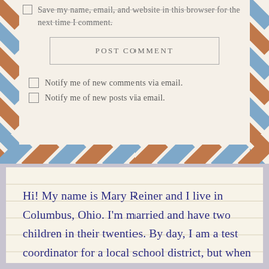Save my name, email, and website in this browser for the next time I comment.
POST COMMENT
Notify me of new comments via email.
Notify me of new posts via email.
Hi! My name is Mary Reiner and I live in Columbus, Ohio. I'm married and have two children in their twenties. By day, I am a test coordinator for a local school district, but when I get home, paper crafting is